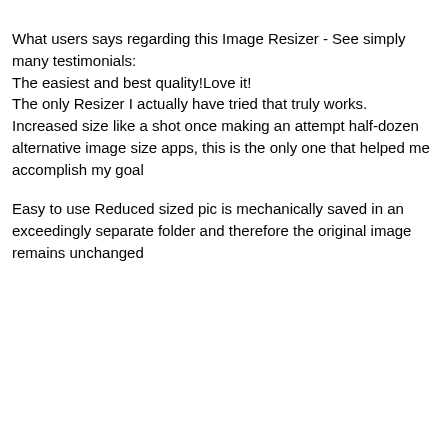What users says regarding this Image Resizer - See simply many testimonials:
The easiest and best quality!Love it!
The only Resizer I actually have tried that truly works.
Increased size like a shot once making an attempt half-dozen alternative image size apps, this is the only one that helped me accomplish my goal
Easy to use Reduced sized pic is mechanically saved in an exceedingly separate folder and therefore the original image remains unchanged